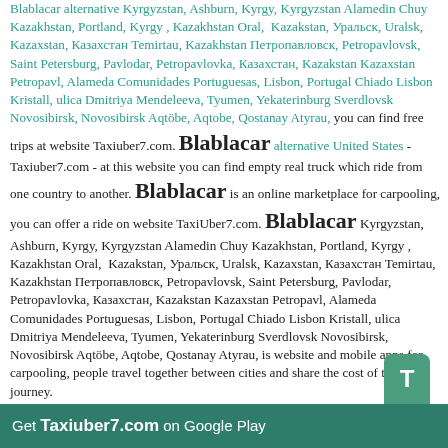Blablacar alternative Kyrgyzstan, Ashburn, Kyrgy, Kyrgyzstan Alamedin Chuy Kazakhstan, Portland, Kyrgy , Kazakhstan Oral, Kazakstan, Уральск, Uralsk, Kazaxstan, Казахстан Temirtau, Kazakhstan Петропавловск, Petropavlovsk, Saint Petersburg, Pavlodar, Petropavlovka, Казахстан, Kazakstan Kazaxstan Petropavl, Alameda Comunidades Portuguesas, Lisbon, Portugal Chiado Lisbon Kristall, ulica Dmitriya Mendeleeva, Tyumen, Yekaterinburg Sverdlovsk Novosibirsk, Novosibirsk Aqtöbe, Aqtobe, Qostanay Atyrau, you can find free trips at website Taxiuber7.com. Blablacar alternative United States - Taxiuber7.com - at this website you can find empty real truck which ride from one country to another. Blablacar is an online marketplace for carpooling, you can offer a ride on website TaxiUber7.com. Blablacar Kyrgyzstan, Ashburn, Kyrgy, Kyrgyzstan Alamedin Chuy Kazakhstan, Portland, Kyrgy , Kazakhstan Oral, Kazakstan, Уральск, Uralsk, Kazaxstan, Казахстан Temirtau, Kazakhstan Петропавловск, Petropavlovsk, Saint Petersburg, Pavlodar, Petropavlovka, Казахстан, Kazakstan Kazaxstan Petropavl, Alameda Comunidades Portuguesas, Lisbon, Portugal Chiado Lisbon Kristall, ulica Dmitriya Mendeleeva, Tyumen, Yekaterinburg Sverdlovsk Novosibirsk, Novosibirsk Aqtöbe, Aqtobe, Qostanay Atyrau, is website and mobile apps for carpooling, people travel together between cities and share the cost of the journey.